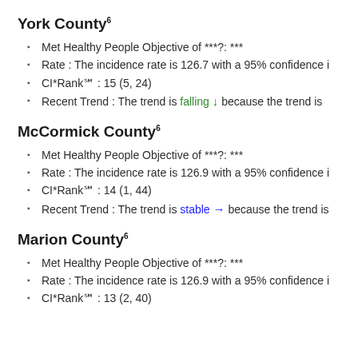York County6
Met Healthy People Objective of ***?: ***
Rate : The incidence rate is 126.7 with a 95% confidence i
CI*Rank⋒ : 15 (5, 24)
Recent Trend : The trend is falling ↓ because the trend is
McCormick County6
Met Healthy People Objective of ***?: ***
Rate : The incidence rate is 126.9 with a 95% confidence i
CI*Rank⋒ : 14 (1, 44)
Recent Trend : The trend is stable → because the trend is
Marion County6
Met Healthy People Objective of ***?: ***
Rate : The incidence rate is 126.9 with a 95% confidence i
CI*Rank⋒ : 13 (2, 40)